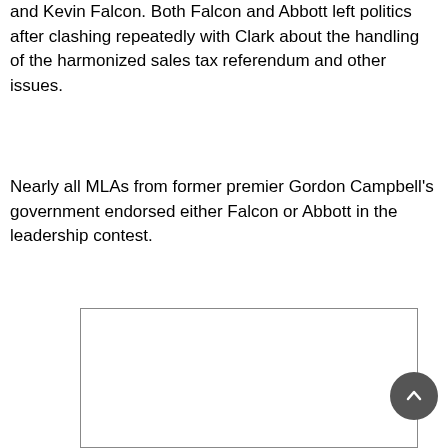and Kevin Falcon. Both Falcon and Abbott left politics after clashing repeatedly with Clark about the handling of the harmonized sales tax referendum and other issues.
Nearly all MLAs from former premier Gordon Campbell's government endorsed either Falcon or Abbott in the leadership contest.
[Figure (other): A white rectangular box with a thin border, partially visible at the bottom of the page, likely an image or embedded content placeholder.]